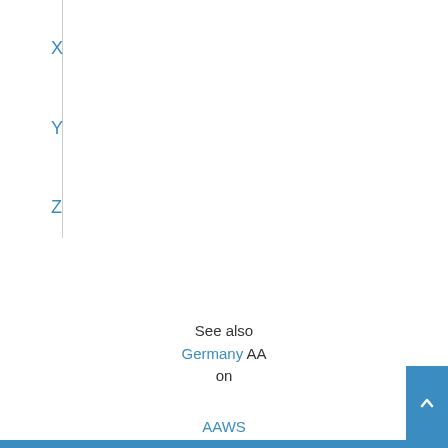X
Y
Z
See also
Germany AA
on
AAWS